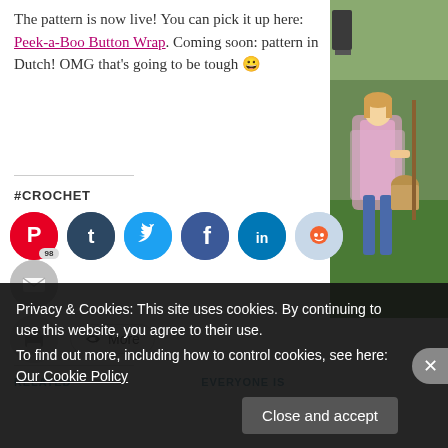The pattern is now live!  You can pick it up here: Peek-a-Boo Button Wrap. Coming soon: pattern in Dutch! OMG that's going to be tough 😀
#CROCHET
[Figure (infographic): Row of social media share icons: Pinterest (red, badge 98), Tumblr (dark teal), Twitter (light blue), Facebook (blue), LinkedIn (dark blue), Reddit (light blue/grey), Email (grey), Print (grey), More button]
[Figure (photo): Photo of a child outdoors wearing a pink crocheted wrap/shawl, holding a basket, with green grass background]
RELATED
EVERYONE IS
Privacy & Cookies: This site uses cookies. By continuing to use this website, you agree to their use.
To find out more, including how to control cookies, see here: Our Cookie Policy
Close and accept